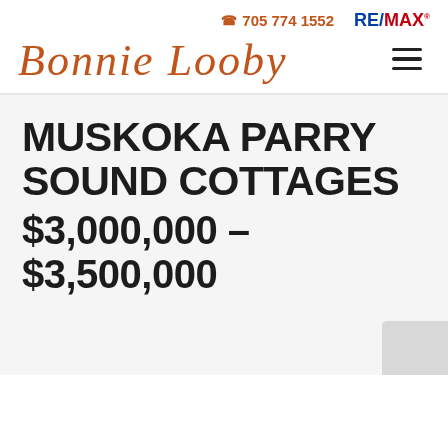705 774 1552  RE/MAX
[Figure (logo): Bonnie Looby cursive signature logo in orange/brown color]
MUSKOKA PARRY SOUND COTTAGES $3,000,000 – $3,500,000